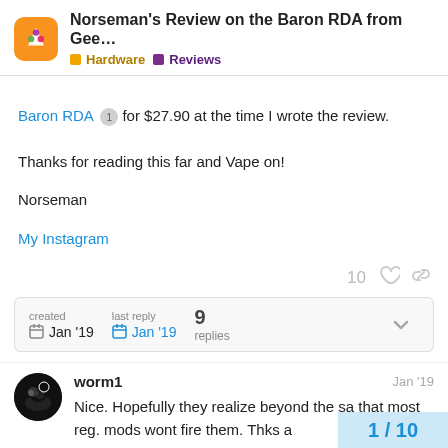Norseman's Review on the Baron RDA from Gee... | Hardware | Reviews
Baron RDA 1 for $27.90 at the time I wrote the review.
Thanks for reading this far and Vape on!
Norseman
My Instagram
10 likes
created Jan '19  last reply Jan '19  9 replies
worm1  Jan '19
Nice. Hopefully they realize beyond the sa... that most reg. mods wont fire them. Thks a...
1 / 10